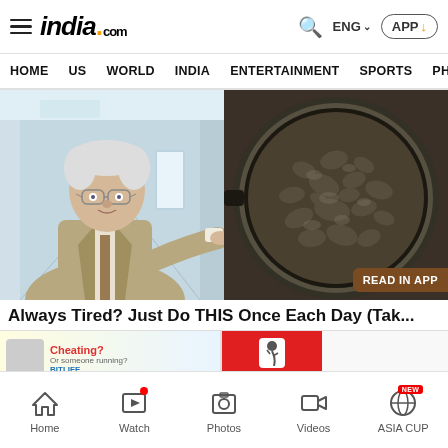india.com — ENG — APP
HOME   US   WORLD   INDIA   ENTERTAINMENT   SPORTS   PHO
[Figure (photo): Left half: older man in suit and glasses pointing to the right. Right half: a frying pan filled with sizzling food/onions viewed from above.]
Always Tired? Just Do THIS Once Each Day (Tak...
[Figure (advertisement): Ad banner: BitLife app advertisement with muscle arm icon and 'Cheating?' text on left, red background with sperm cell icon and BitLife logo on right]
Home   Watch   Photos   Videos   ASIA CUP